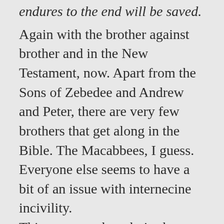endures to the end will be saved.
Again with the brother against brother and in the New Testament, now. Apart from the Sons of Zebedee and Andrew and Peter, there are very few brothers that get along in the Bible. The Macabbees, I guess. Everyone else seems to have a bit of an issue with internecine incivility.
This passage, though, is about the Church. Brother will hand over brother to death: Christians will be acting like the sons of Jacob, as the sons of Adam and